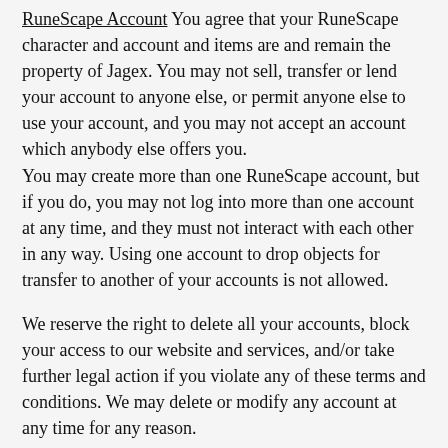RuneScape Account You agree that your RuneScape character and account and items are and remain the property of Jagex. You may not sell, transfer or lend your account to anyone else, or permit anyone else to use your account, and you may not accept an account which anybody else offers you.
You may create more than one RuneScape account, but if you do, you may not log into more than one account at any time, and they must not interact with each other in any way. Using one account to drop objects for transfer to another of your accounts is not allowed.
We reserve the right to delete all your accounts, block your access to our website and services, and/or take further legal action if you violate any of these terms and conditions. We may delete or modify any account at any time for any reason.